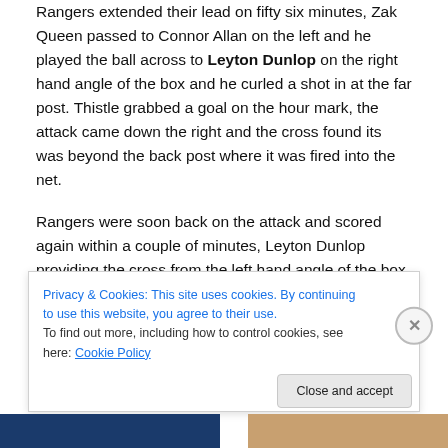Rangers extended their lead on fifty six minutes, Zak Queen passed to Connor Allan on the left and he played the ball across to Leyton Dunlop on the right hand angle of the box and he curled a shot in at the far post. Thistle grabbed a goal on the hour mark, the attack came down the right and the cross found its was beyond the back post where it was fired into the net.
Rangers were soon back on the attack and scored again within a couple of minutes, Leyton Dunlop providing the cross from the left hand angle of the box for Robbie Ure to head home at the back post. A solo run from
Privacy & Cookies: This site uses cookies. By continuing to use this website, you agree to their use.
To find out more, including how to control cookies, see here: Cookie Policy
Close and accept